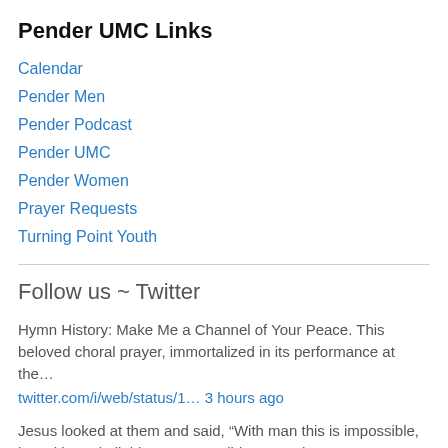Pender UMC Links
Calendar
Pender Men
Pender Podcast
Pender UMC
Pender Women
Prayer Requests
Turning Point Youth
Follow us ~ Twitter
Hymn History: Make Me a Channel of Your Peace. This beloved choral prayer, immortalized in its performance at the…
twitter.com/i/web/status/1… 3 hours ago
Jesus looked at them and said, “With man this is impossible, but with God all things are possible.” ~Matthew 19:26…
twitter.com/i/web/status/1… 5 hours ago